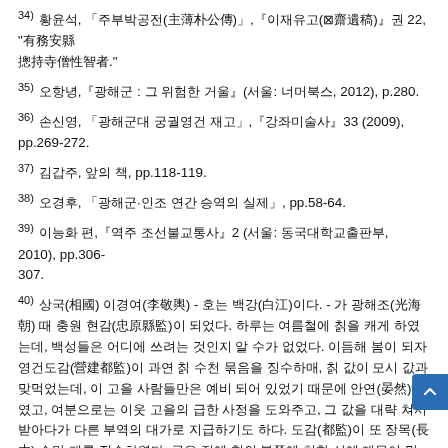34) 황윤석, 「주부박공전(主薄朴公傳)」,『이재유고(⊠齋遺稿)』권 22, "有務安縣摠持寺僧性智者."
35) 오항녕,『광해군 : 그 위험한 거울』(서울: 너머북스, 2012), p.280.
36) 손신영, 「광해군대 궁궐영건 재고」,『강좌미술사』33 (2009), pp.269-272.
37) 김갑주, 앞의 책, pp.118-119.
38) 오경후, 「광해군·인조 연간 승역의 실제」, pp.58-64.
39) 이능화 편,『역주 조선불교통사』2 (서울: 동국대학교출판부, 2010), pp.306-307.
40) 상국(相國) 이경여(李敬輿) - 호는 백강(白江)이다. - 가 광해조(光海朝) 때 충원 현감(忠原縣監)이 되었다. 하루는 여름철에 칡을 캐게 하였는데, 백성들은 어디에 쓰려는 것인지 알 수가 없었다. 이듬해 봄이 되자 영건도감(營建都監)이 과연 칡 수천 묶음을 징수하매, 칡 값이 모시 값과 맞먹었는데, 이 고을 사람들만은 예비 되어 있었기 때문에 안연(晏然)하였고, 여분으로는 이웃 고을의 급한 사정을 도와주고, 그 값을 대략 쳐서 받아다가 다른 부역의 대가로 지급하기도 하다. 도감(都監)이 또 장목(長木) 수만 개를 징수하였다. 공은 전에 현의 북쪽에 치한 산에 재목이 많은 것을 보고는 벌채를 특별히 금지해 두었었다. 이때에 이 같은 관가로 단련가서 여러 상인들을 불러 놓고 말하기를 "너희들 중 겨겨을…